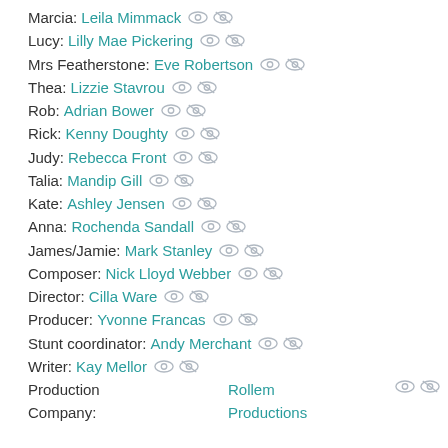Marcia: Leila Mimmack
Lucy: Lilly Mae Pickering
Mrs Featherstone: Eve Robertson
Thea: Lizzie Stavrou
Rob: Adrian Bower
Rick: Kenny Doughty
Judy: Rebecca Front
Talia: Mandip Gill
Kate: Ashley Jensen
Anna: Rochenda Sandall
James/Jamie: Mark Stanley
Composer: Nick Lloyd Webber
Director: Cilla Ware
Producer: Yvonne Francas
Stunt coordinator: Andy Merchant
Writer: Kay Mellor
Production Company: Rollem Productions